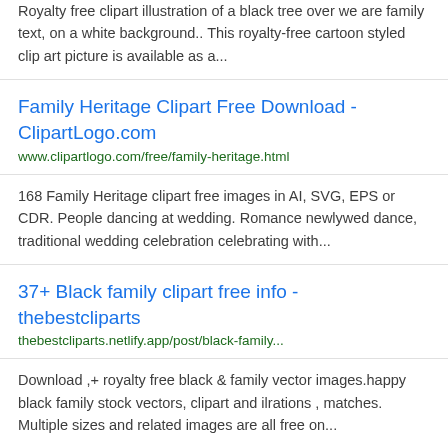Royalty free clipart illustration of a black tree over we are family text, on a white background.. This royalty-free cartoon styled clip art picture is available as a...
Family Heritage Clipart Free Download - ClipartLogo.com
www.clipartlogo.com/free/family-heritage.html
168 Family Heritage clipart free images in AI, SVG, EPS or CDR. People dancing at wedding. Romance newlywed dance, traditional wedding celebration celebrating with...
37+ Black family clipart free info - thebestcliparts
thebestcliparts.netlify.app/post/black-family...
Download ,+ royalty free black & family vector images.happy black family stock vectors, clipart and ilrations , matches. Multiple sizes and related images are all free on...